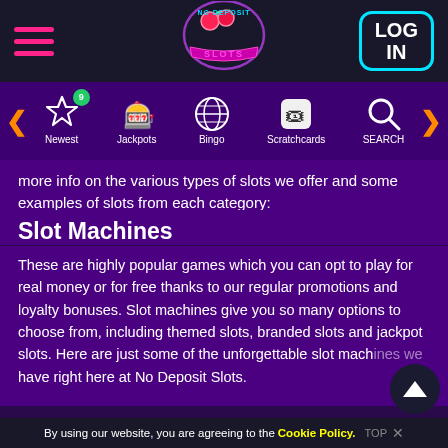[Figure (logo): No Deposit Slots neon cherry logo in circular design with pink/purple neon text]
[Figure (infographic): Navigation bar with Newest (star with badge 9), Jackpots (dice/stars icon), Bingo (globe icon), Scratchcards (scratchcard icon), SEARCH (magnifier icon), left and right orange arrows]
more info on the various types of slots we offer and some examples of slots from each category:
Slot Machines
These are highly popular games which you can opt to play for real money or for free thanks to our regular promotions and loyalty bonuses. Slot machines give you so many options to choose from, including themed slots, branded slots and jackpot slots. Here are just some of the unforgettable slot machines we have right here at No Deposit Slots.
By using our website, you are agreeing to the Cookie Policy.